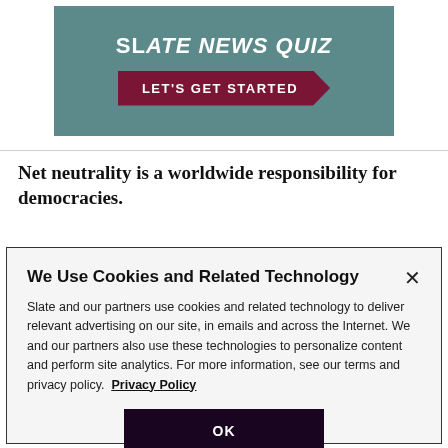[Figure (screenshot): Slate News Quiz banner with teal background showing 'SLATE NEWS QUIZ' title in white bold italic text and a dark red arrow button labeled 'LET'S GET STARTED']
Net neutrality is a worldwide responsibility for democracies.
We Use Cookies and Related Technology
Slate and our partners use cookies and related technology to deliver relevant advertising on our site, in emails and across the Internet. We and our partners also use these technologies to personalize content and perform site analytics. For more information, see our terms and privacy policy.  Privacy Policy
OK